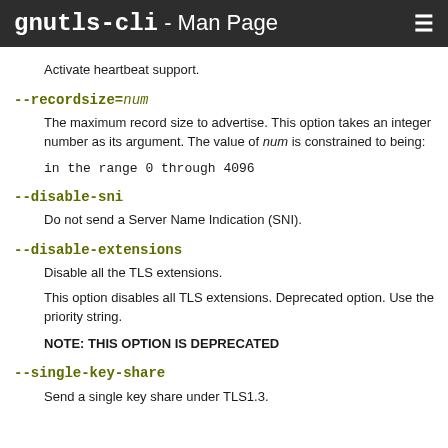gnutls-cli - Man Page
Activate heartbeat support.
--recordsize=num
The maximum record size to advertise. This option takes an integer number as its argument. The value of num is constrained to being:
--disable-sni
Do not send a Server Name Indication (SNI).
--disable-extensions
Disable all the TLS extensions.
This option disables all TLS extensions. Deprecated option. Use the priority string.
NOTE: THIS OPTION IS DEPRECATED
--single-key-share
Send a single key share under TLS1.3.